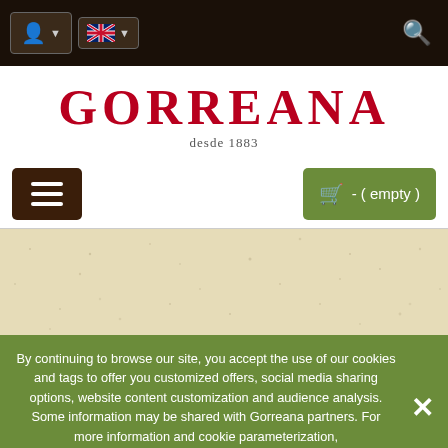Navigation bar with user account, language (UK flag), and search icons
GORREANA desde 1883
Menu button and cart (empty) button
[Figure (photo): Beige/cream textured background area]
By continuing to browse our site, you accept the use of our cookies and tags to offer you customized offers, social media sharing options, website content customization and audience analysis. Some information may be shared with Gorreana partners. For more information and cookie parameterization, Click Here.